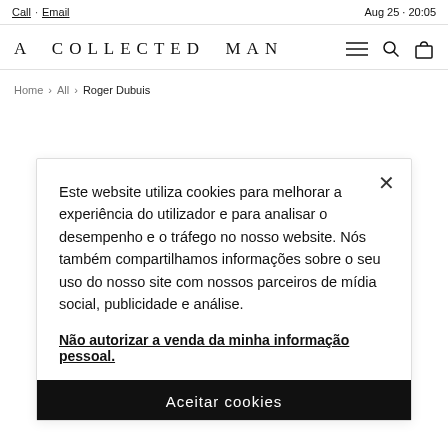Call · Email | Aug 25 · 20:05
A COLLECTED MAN
Home · All · Roger Dubuis
Este website utiliza cookies para melhorar a experiência do utilizador e para analisar o desempenho e o tráfego no nosso website. Nós também compartilhamos informações sobre o seu uso do nosso site com nossos parceiros de mídia social, publicidade e análise.
Não autorizar a venda da minha informação pessoal.
Aceitar cookies